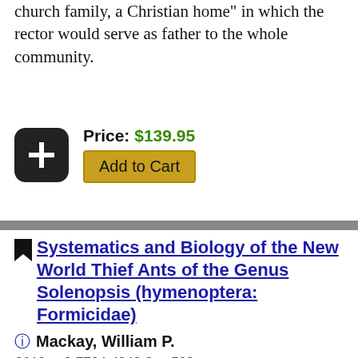church family, a Christian home" in which the rector would serve as father to the whole community.
Price: $139.95
Add to Cart
Systematics and Biology of the New World Thief Ants of the Genus Solenopsis (hymenoptera: Formicidae)
Mackay, William P.
2013 ▲ 0-7734-4342-8 ▲ 508 pages
The New World species of the thief ant genus Solenopsis is revised. Thief ants are among the most common ants in nearly all terrestrial habitats. In this book a new scheme of well-defined species complexes is